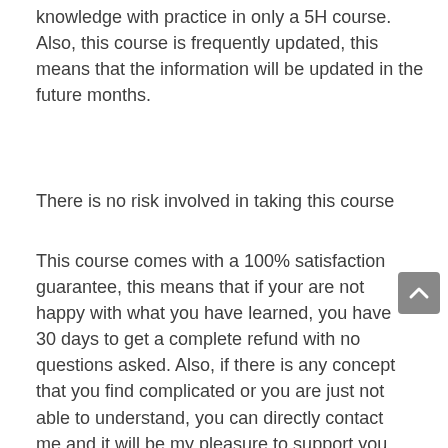knowledge with practice in only a 5H course. Also, this course is frequently updated, this means that the information will be updated in the future months.
There is no risk involved in taking this course
This course comes with a 100% satisfaction guarantee, this means that if your are not happy with what you have learned, you have 30 days to get a complete refund with no questions asked. Also, if there is any concept that you find complicated or you are just not able to understand, you can directly contact me and it will be my pleasure to support you in your learning.